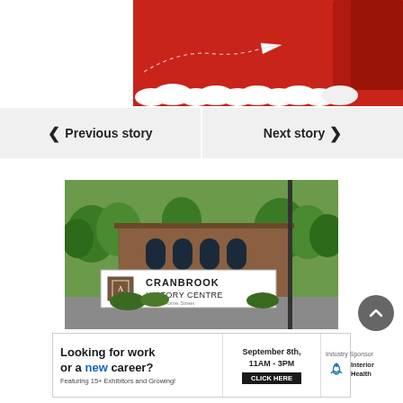[Figure (illustration): Top portion of a red illustrated background with clouds at the bottom and a paper airplane with dashed flight path. Left portion is white background (cropped page navigation area).]
Previous story
Next story
[Figure (photo): Photograph of Cranbrook History Centre building exterior, a brick building with trees, and a sign reading CRANBROOK HISTORY CENTRE. Below the photo: 'Looking for work or a new career? Featuring 15+ Exhibitors and Growing!' with a black bar at the bottom partially cut off.]
[Figure (infographic): Banner advertisement: 'Looking for work or a new career? Featuring 15+ Exhibitors and Growing! September 8th, 11AM-3PM CLICK HERE. Industry Sponsor: Interior Health logo.']